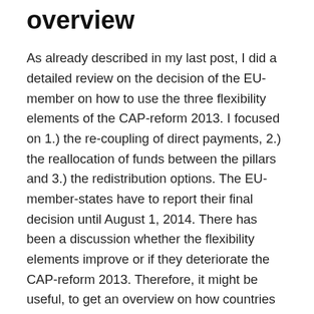overview
As already described in my last post, I did a detailed review on the decision of the EU-member on how to use the three flexibility elements of the CAP-reform 2013. I focused on 1.) the re-coupling of direct payments, 2.) the reallocation of funds between the pillars and 3.) the redistribution options. The EU-member-states have to report their final decision until August 1, 2014. There has been a discussion whether the flexibility elements improve or if they deteriorate the CAP-reform 2013. Therefore, it might be useful, to get an overview on how countries use this flexibility.
Here is the table overview on the CAP-reform-implementation in the single member-states.
These information were gathered by internet-search. Agra